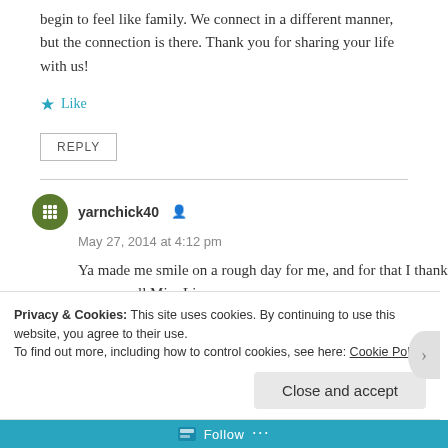begin to feel like family. We connect in a different manner, but the connection is there. Thank you for sharing your life with us!
★ Like
REPLY
yarnchick40 [user icon]
May 27, 2014 at 4:12 pm
Ya made me smile on a rough day for me, and for that I thank you as well Miss Liz
Privacy & Cookies: This site uses cookies. By continuing to use this website, you agree to their use.
To find out more, including how to control cookies, see here: Cookie Policy
Close and accept
Follow ...